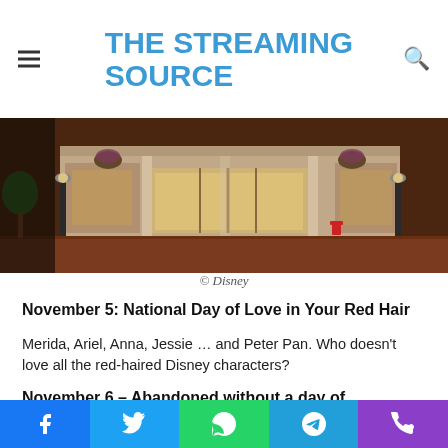THE STREAMING SOURCE
[Figure (photo): Street-level view of a Disney theme park storefront at dusk/evening showing illuminated shop windows, lamp posts, hanging flower baskets, and a brick walkway]
© Disney
November 5: National Day of Love in Your Red Hair
Merida, Ariel, Anna, Jessie … and Peter Pan. Who doesn't love all the red-haired Disney characters?
November 6 – Abandoned without a day of compass
Visit the Swiss Family Robinson Tree House and